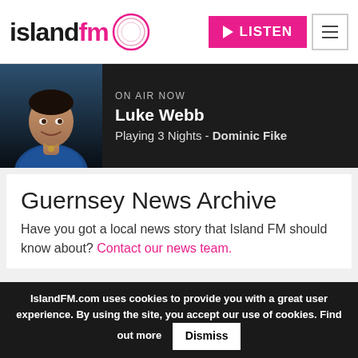[Figure (logo): Island FM logo with pink 'fm' text and pink circle graphic]
[Figure (other): LISTEN button in pink with play icon, and hamburger menu button]
[Figure (photo): On Air Now banner with DJ Luke Webb photo on dark background]
ON AIR NOW
Luke Webb
Playing 3 Nights - Dominic Fike
Guernsey News Archive
Have you got a local news story that Island FM should know about? Contact our news team.
IslandFM.com uses cookies to provide you with a great user experience. By using the site, you accept our use of cookies. Find out more  Dismiss